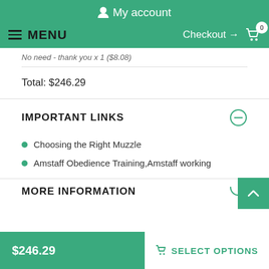My account
MENU  Checkout → 0
No need - thank you x 1 ($8.08)
Total: $246.29
IMPORTANT LINKS
Choosing the Right Muzzle
Amstaff Obedience Training,Amstaff working
MORE INFORMATION
$246.29
SELECT OPTIONS